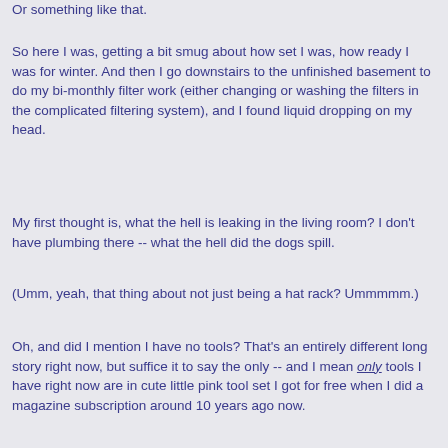Or something like that.
So here I was, getting a bit smug about how set I was, how ready I was for winter. And then I go downstairs to the unfinished basement to do my bi-monthly filter work (either changing or washing the filters in the complicated filtering system), and I found liquid dropping on my head.
My first thought is, what the hell is leaking in the living room? I don't have plumbing there -- what the hell did the dogs spill.
(Umm, yeah, that thing about not just being a hat rack? Ummmmm.)
Oh, and did I mention I have no tools? That's an entirely different long story right now, but suffice it to say the only -- and I mean only tools I have right now are in cute little pink tool set I got for free when I did a magazine subscription around 10 years ago now.